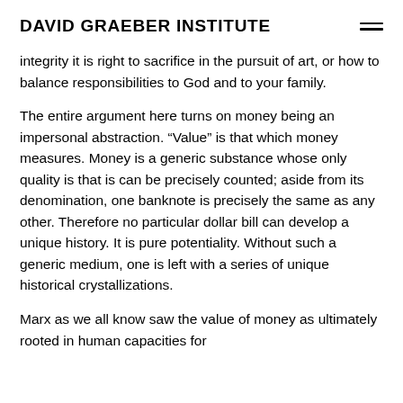DAVID GRAEBER INSTITUTE
integrity it is right to sacrifice in the pursuit of art, or how to balance responsibilities to God and to your family.
The entire argument here turns on money being an impersonal abstraction. “Value” is that which money measures. Money is a generic substance whose only quality is that is can be precisely counted; aside from its denomination, one banknote is precisely the same as any other. Therefore no particular dollar bill can develop a unique history. It is pure potentiality. Without such a generic medium, one is left with a series of unique historical crystallizations.
Marx as we all know saw the value of money as ultimately rooted in human capacities for